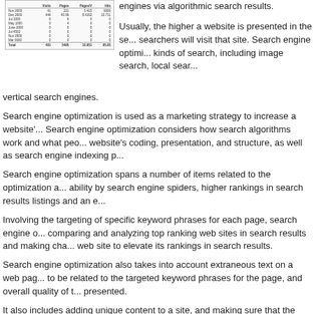[Figure (table-as-image): A data table showing monthly statistics with columns for dates and numeric values, with a Total row at the bottom.]
engines via algorithmic search results.
Usually, the higher a website is presented in the se... searchers will visit that site. Search engine optimi... kinds of search, including image search, local sear... vertical search engines.
Search engine optimization is used as a marketing strategy to increase a website'... Search engine optimization considers how search algorithms work and what peo... website's coding, presentation, and structure, as well as search engine indexing p...
Search engine optimization spans a number of items related to the optimization a... ability by search engine spiders, higher rankings in search results listings and an e...
Involving the targeting of specific keyword phrases for each page, search engine o... comparing and analyzing top ranking web sites in search results and making cha... web site to elevate its rankings in search results.
Search engine optimization also takes into account extraneous text on a web pag... to be related to the targeted keyword phrases for the page, and overall quality of t... presented.
It also includes adding unique content to a site, and making sure that the content a... engines and also appeals to the reader or browser.
The term 'Search engine optimization' refers to a term adopted by an industry of c...